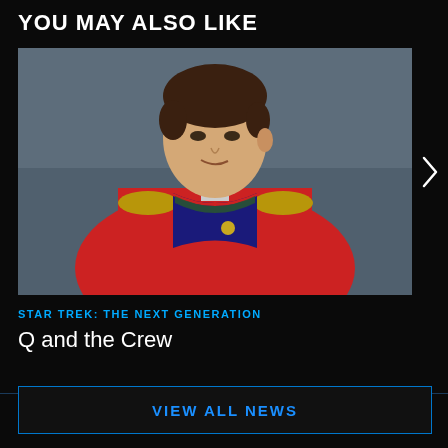YOU MAY ALSO LIKE
[Figure (photo): A man wearing an ornate red military-style jacket with gold epaulettes and a dark embroidered collar, looking to the side. Screenshot from a TV show.]
STAR TREK: THE NEXT GENERATION
Q and the Crew
VIEW ALL NEWS